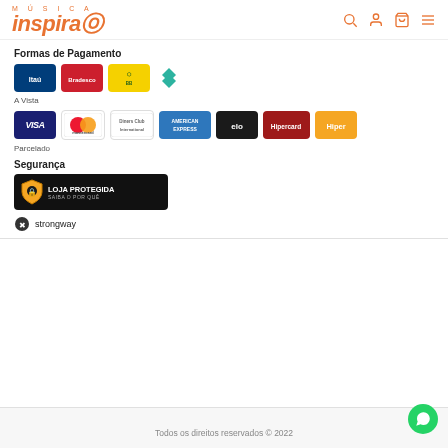Música Inspira
Formas de Pagamento
[Figure (logo): Payment method logos: Itaú, Bradesco, Banco do Brasil, Pix]
A Vista
[Figure (logo): Credit card logos: Visa, Mastercard, Diners Club International, American Express, Elo, Hipercard, Hiper]
Parcelado
Segurança
[Figure (logo): Loja Protegida - Saiba o por quê badge]
[Figure (logo): Strongway logo]
Todos os direitos reservados © 2022